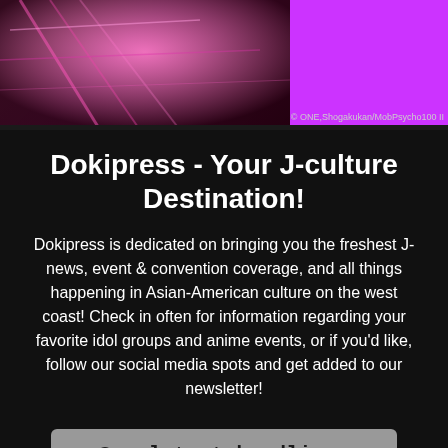[Figure (photo): Header image with pink/magenta anime-style illustration on the left portion and a solid purple/magenta color block on the right portion]
© ONE,Shogakukan/MobPsycho100 II
Dokipress - Your J-culture Destination!
Dokipress is dedicated on bringing you the freshest J-news, event & convention coverage, and all things happening in Asian-American culture on the west coast! Check in often for information regarding your favorite idol groups and anime events, or if you'd like, follow our social media spots and get added to our newsletter!
See latest headlines